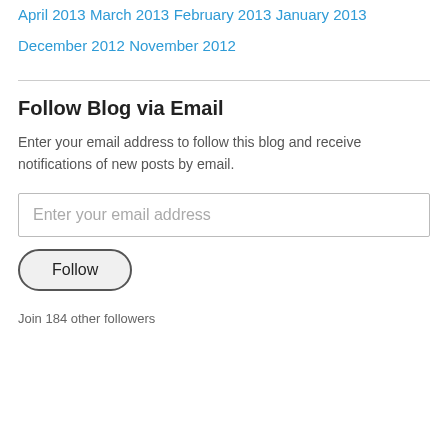April 2013
March 2013
February 2013
January 2013
December 2012
November 2012
Follow Blog via Email
Enter your email address to follow this blog and receive notifications of new posts by email.
Enter your email address
Follow
Join 184 other followers